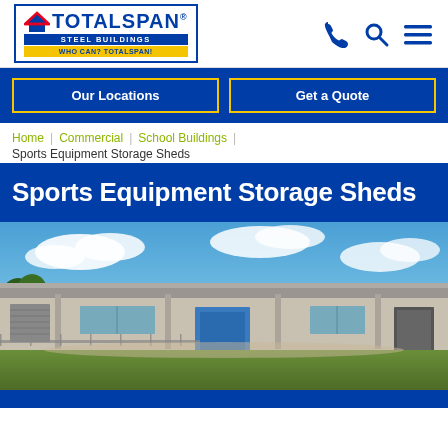[Figure (logo): Totalspan Steel Buildings logo with tagline WHO CAN? TOTALSPAN!]
[Figure (other): Navigation icons: phone, search, hamburger menu in blue]
Our Locations
Get a Quote
Home | Commercial | School Buildings | Sports Equipment Storage Sheds
Sports Equipment Storage Sheds
[Figure (photo): Exterior photo of a large steel storage shed building with covered verandah area, blue sky with clouds in background, green grass in foreground]